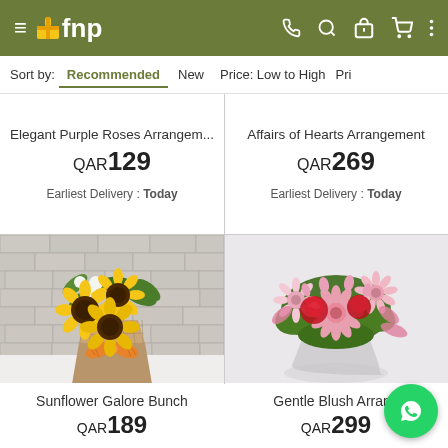≡ fnp  [phone] [search] [gift] [cart] [more]
Sort by:  Recommended  New  Price: Low to High  Pri
Elegant Purple Roses Arrangem...
QAR129
Earliest Delivery : Today
Affairs of Hearts Arrangement
QAR269
Earliest Delivery : Today
[Figure (photo): Sunflower bouquet with white flowers in a burlap-wrapped vase with orange bow, against white brick wall]
[Figure (photo): Pink and red flower arrangement with gerberas, roses, and lilies in a clear glass bowl vase on white background]
Sunflower Galore Bunch
QAR189
Gentle Blush Arrang
QAR299